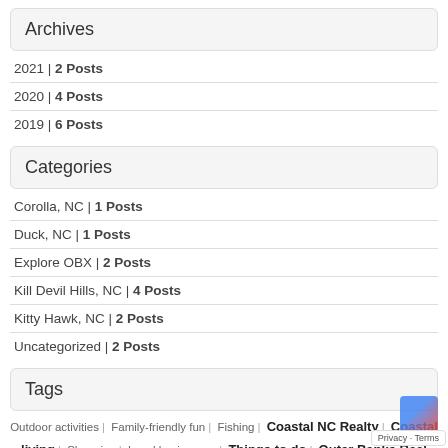Archives
2021 | 2 Posts
2020 | 4 Posts
2019 | 6 Posts
Categories
Corolla, NC | 1 Posts
Duck, NC | 1 Posts
Explore OBX | 2 Posts
Kill Devil Hills, NC | 4 Posts
Kitty Hawk, NC | 2 Posts
Uncategorized | 2 Posts
Tags
Outdoor activities | Family-friendly fun | Fishing | Coastal NC Realty | Coastal living | Shopping | Local businesses | Things to do | Outer Banks Real Estate | OBX Real Estate | Waterfront dining | Restaurants | Coffee shops | Community information